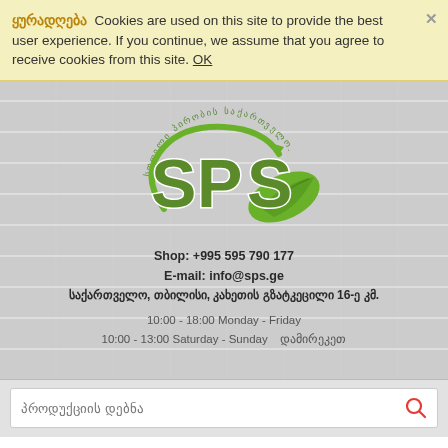ყურადღება  Cookies are used on this site to provide the best user experience. If you continue, we assume that you agree to receive cookies from this site. OK
[Figure (logo): SPS company logo — green letters 'SPS' with a green leaf and swirl, Georgian text arced above reading 'სოფელი პირობის საქართველო']
Shop: +995 595 790 177
E-mail: info@sps.ge
საქართველო, თბილისი, კახეთის გზატკეცილი 16-ე კმ.
10:00 - 18:00 Monday - Friday
10:00 - 13:00 Saturday - Sunday   დამირეკეთ
პროდუქციის დებნა